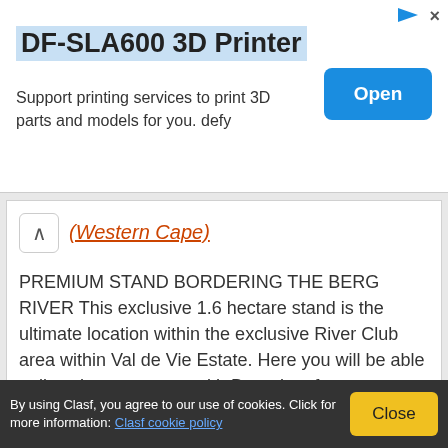[Figure (screenshot): Advertisement banner for DF-SLA600 3D Printer with Open button]
DF-SLA600 3D Printer
Support printing services to print 3D parts and models for you. defy
(Western Cape)
PREMIUM STAND BORDERING THE BERG RIVER This exclusive 1.6 hectare stand is the ultimate location within the exclusive River Club area within Val de Vie Estate. Here you will be able to live close to nature with Berg river frontage, green belt areas and established trees. The
R 12.500.000
[Figure (photo): Mountain landscape photo strip]
By using Clasf, you agree to our use of cookies. Click for more information: Clasf cookie policy